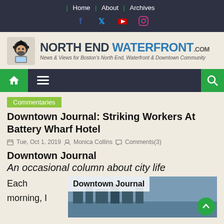Home | About | Archives
[Figure (logo): North End Waterfront logo with pirate mascot and site title]
[Figure (screenshot): Navigation menu bar with home, hamburger, and search icons]
Commentaries
Downtown Journal: Striking Workers At Battery Wharf Hotel
Tue, Oct 1, 2019  Monica Collins  Comments(3)
Downtown Journal
An occasional column about city life
Each morning, I
[Figure (photo): Downtown Journal inline image with waterfront scene]